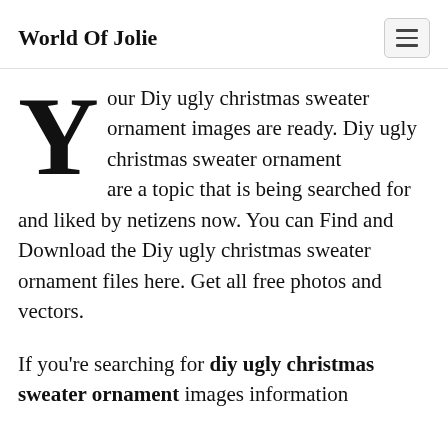World Of Jolie
Your Diy ugly christmas sweater ornament images are ready. Diy ugly christmas sweater ornament are a topic that is being searched for and liked by netizens now. You can Find and Download the Diy ugly christmas sweater ornament files here. Get all free photos and vectors.
If you're searching for diy ugly christmas sweater ornament images information